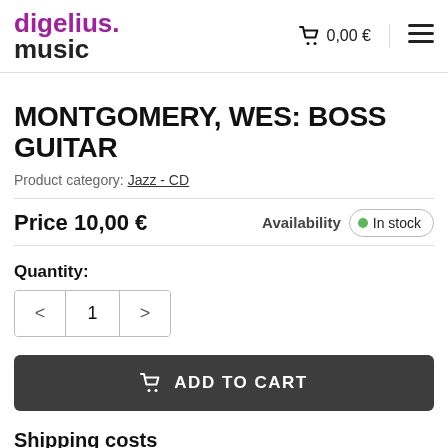digelius music  0,00 €  ☰
MONTGOMERY, WES: BOSS GUITAR
Product category: Jazz - CD
Price 10,00 €   Availability  In stock
Quantity:
< 1 >
ADD TO CART
Shipping costs